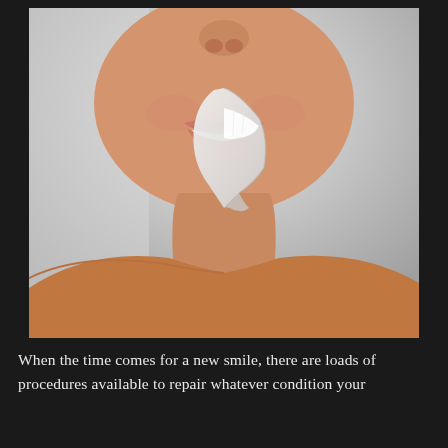[Figure (photo): Close-up photo of a woman's lower face and neck showing a bright white smile. A page-peel effect in the center reveals the teeth, suggesting a dental before-and-after or smile transformation concept. The background is light gray/white and the skin tone is warm.]
When the time comes for a new smile, there are loads of procedures available to repair whatever condition your